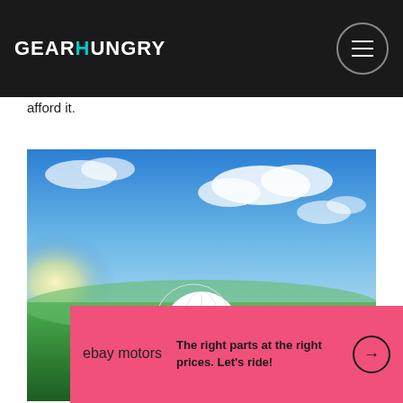GEARHUNGRY
afford it.
[Figure (photo): Golf balls on green grass with a red tee under a sunny blue sky with clouds]
[Figure (screenshot): eBay Motors advertisement banner with pink background: 'The right parts at the right prices. Let's ride!']